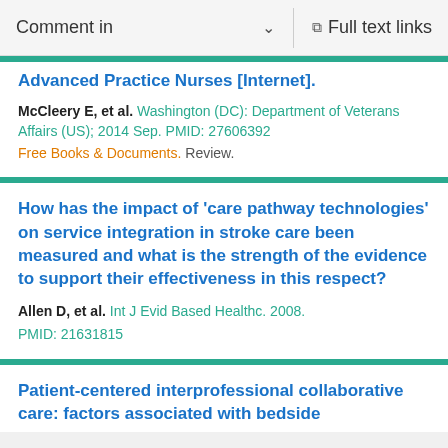Comment in   Full text links
Advanced Practice Nurses [Internet].
McCleery E, et al. Washington (DC): Department of Veterans Affairs (US); 2014 Sep. PMID: 27606392
Free Books & Documents. Review.
How has the impact of 'care pathway technologies' on service integration in stroke care been measured and what is the strength of the evidence to support their effectiveness in this respect?
Allen D, et al. Int J Evid Based Healthc. 2008.
PMID: 21631815
Patient-centered interprofessional collaborative care: factors associated with bedside